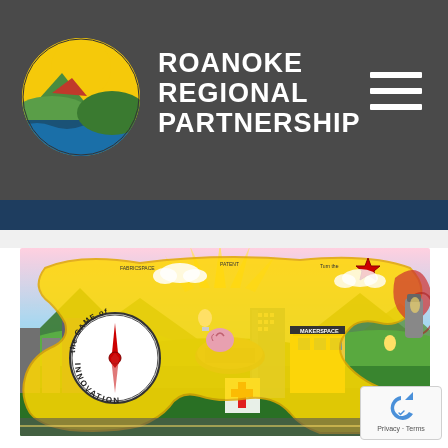[Figure (logo): Roanoke Regional Partnership logo: circular emblem with landscape scene featuring mountains, green hills, water, and sun rays in yellow, green, red and blue]
ROANOKE REGIONAL PARTNERSHIP
[Figure (illustration): The Game of Innovation board game illustration showing a colorful city scene with buildings, makerspace, mountains, roads, and a board game spinner in the center]
Privacy · Terms